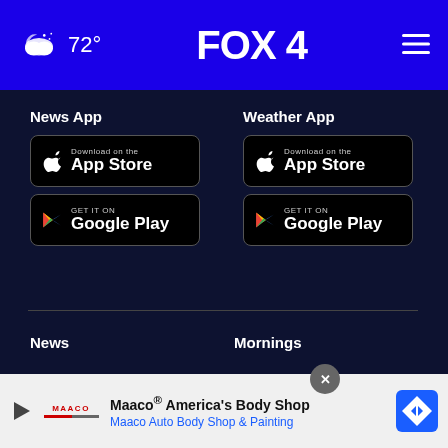FOX 4 — 72°
News App
[Figure (screenshot): Download on the App Store button (black) for News App]
[Figure (screenshot): Get it on Google Play button (black) for News App]
Weather App
[Figure (screenshot): Download on the App Store button (black) for Weather App]
[Figure (screenshot): Get it on Google Play button (black) for Weather App]
News
Mornings
Watch Live
Contests
Great Day KC
Sponsored Content / Ask The Experts
Sports
[Figure (screenshot): Maaco advertisement banner: Maaco® America's Body Shop — Maaco Auto Body Shop & Painting]